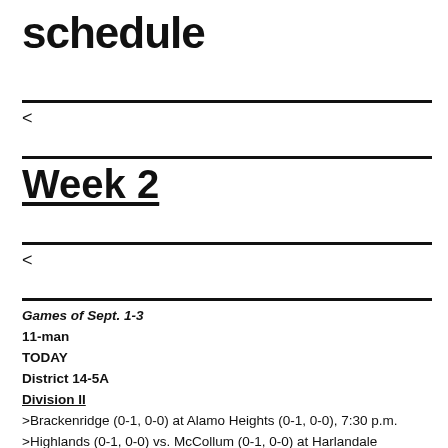schedule
<
Week 2
<
Games of Sept. 1-3
11-man
TODAY
District 14-5A
Division II
>Brackenridge (0-1, 0-0) at Alamo Heights (0-1, 0-0), 7:30 p.m.
>Highlands (0-1, 0-0) vs. McCollum (0-1, 0-0) at Harlandale Memorial Stadium, 7 p.m.